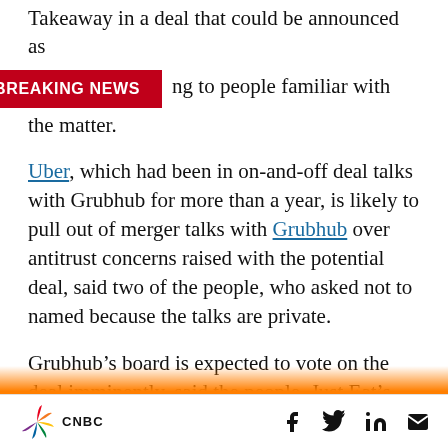Takeaway in a deal that could be announced as
[Figure (other): Red BREAKING NEWS banner overlay]
ng to people familiar with the matter.
Uber, which had been in on-and-off deal talks with Grubhub for more than a year, is likely to pull out of merger talks with Grubhub over antitrust concerns raised with the potential deal, said two of the people, who asked not to named because the talks are private.
Grubhub’s board is expected to vote on the deal imminently, said the people. Just Eat’s offer is at a small premium to where Grubhub is currently trading, one of the people said. Grubhub was
CNBC | Share icons: Facebook, Twitter, LinkedIn, Email